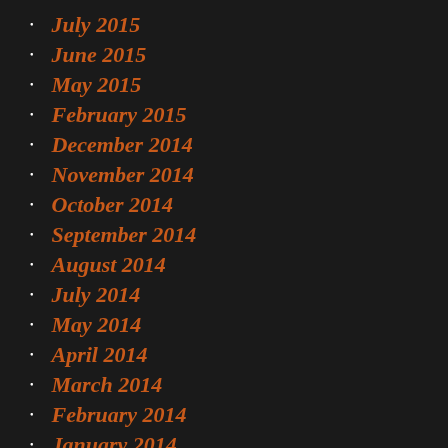July 2015
June 2015
May 2015
February 2015
December 2014
November 2014
October 2014
September 2014
August 2014
July 2014
May 2014
April 2014
March 2014
February 2014
January 2014
December 2013